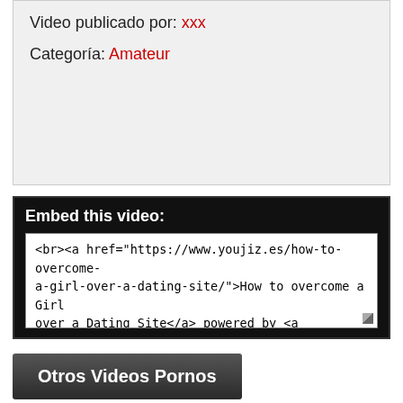Video publicado por: xxx
Categoría: Amateur
Embed this video:
<br><a href="https://www.youjiz.es/how-to-overcome-a-girl-over-a-dating-site/">How to overcome a Girl over a Dating Site</a> powered by <a href=http://www.youjiz.es>Youjiz</a>.
Otros Videos Pornos
Youjiz.es es exclusivo solamente para mayores de edad .Tienes que tener mas de 18 años para poder visitarlo. Todas las modelos de videos son mayores de edad.
⇒ Navigate